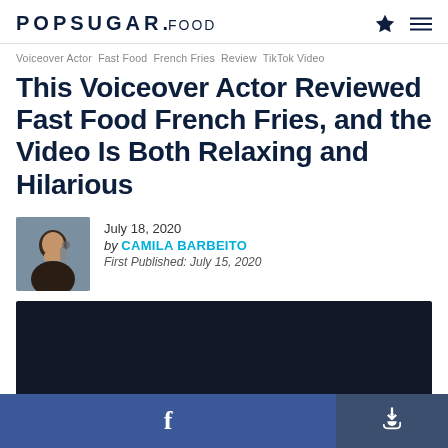POPSUGAR. FOOD
Voiceover Actor Fast Food French Fries Review TikTok Video
This Voiceover Actor Reviewed Fast Food French Fries, and the Video Is Both Relaxing and Hilarious
July 18, 2020
by CAMILA BARBEITO
First Published: July 15, 2020
[Figure (photo): Author photo thumbnail - woman with microphone]
[Figure (screenshot): Dark video embed block]
Facebook share button | Share button